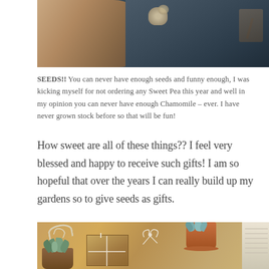[Figure (photo): Top portion of a photo showing a hand holding seeds against a dark botanical-patterned fabric background]
SEEDS!!  You can never have enough seeds and funny enough, I was kicking myself for not ordering any Sweet Pea this year and well in my opinion you can never have enough Chamomile – ever.  I have never grown stock before so that will be fun!
How sweet are all of these things?? I feel very blessed and happy to receive such gifts!  I am so hopeful that over the years I can really build up my gardens so to give seeds as gifts.
[Figure (photo): Top portion of a photo showing succulents in terracotta pots, a wrapped gift box with botanical stamp design and twine, an antler, and a white knit sweater on a wooden surface]